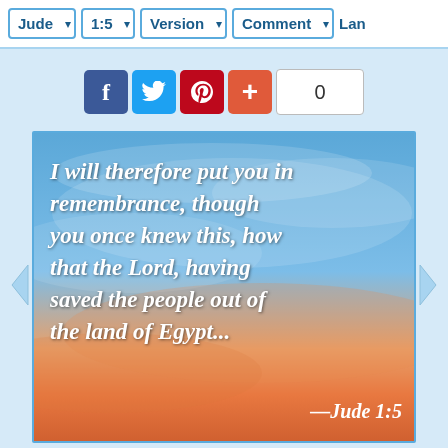Jude  1:5  Version  Comment  Lan
[Figure (screenshot): Social share buttons: Facebook (f), Twitter (bird), Pinterest (P), Plus (+), and a share count box showing 0]
[Figure (photo): Bible verse image with sky/sunset background showing Jude 1:5: 'I will therefore put you in remembrance, though you once knew this, how that the Lord, having saved the people out of the land of Egypt...' —Jude 1:5]